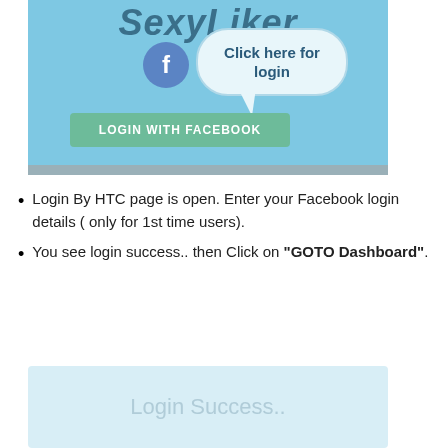[Figure (screenshot): Screenshot of SexyLiker app login page with a Facebook login button and a speech bubble saying 'Click here for login'. The background is light blue with a teal 'LOGIN WITH FACEBOOK' button.]
Login By HTC page is open. Enter your Facebook login details ( only for 1st time users).
You see login success.. then Click on "GOTO Dashboard".
[Figure (screenshot): Screenshot showing 'Login Success..' text on a light blue background.]